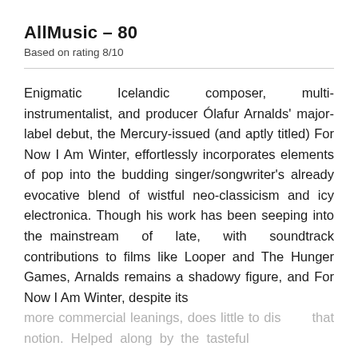AllMusic – 80
Based on rating 8/10
Enigmatic Icelandic composer, multi-instrumentalist, and producer Ólafur Arnalds' major-label debut, the Mercury-issued (and aptly titled) For Now I Am Winter, effortlessly incorporates elements of pop into the budding singer/songwriter's already evocative blend of wistful neo-classicism and icy electronica. Though his work has been seeping into the mainstream of late, with soundtrack contributions to films like Looper and The Hunger Games, Arnalds remains a shadowy figure, and For Now I Am Winter, despite its more commercial leanings, does little to dis that notion. Helped along by the tasteful